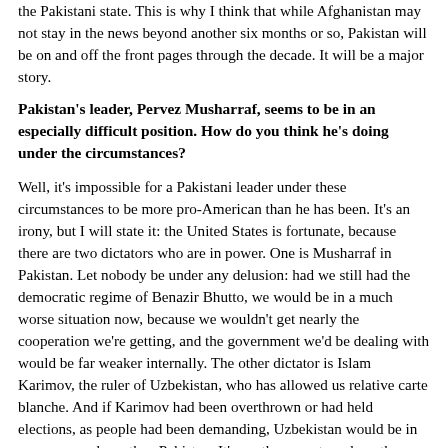the Pakistani state. This is why I think that while Afghanistan may not stay in the news beyond another six months or so, Pakistan will be on and off the front pages through the decade. It will be a major story.
Pakistan's leader, Pervez Musharraf, seems to be in an especially difficult position. How do you think he's doing under the circumstances?
Well, it's impossible for a Pakistani leader under these circumstances to be more pro-American than he has been. It's an irony, but I will state it: the United States is fortunate, because there are two dictators who are in power. One is Musharraf in Pakistan. Let nobody be under any delusion: had we still had the democratic regime of Benazir Bhutto, we would be in a much worse situation now, because we wouldn't get nearly the cooperation we're getting, and the government we'd be dealing with would be far weaker internally. The other dictator is Islam Karimov, the ruler of Uzbekistan, who has allowed us relative carte blanche. And if Karimov had been overthrown or had held elections, as people had been demanding, Uzbekistan would be in even worse shape than Pakistan. It's another country where there seems to be no alternative except tyranny or anarchy. Because of two dictators, the United States is able to place troops on the ground, in places contiguous to Afghanistan. Karimov and Musharraf have really come through for us, and the situation would be far more difficult without them.